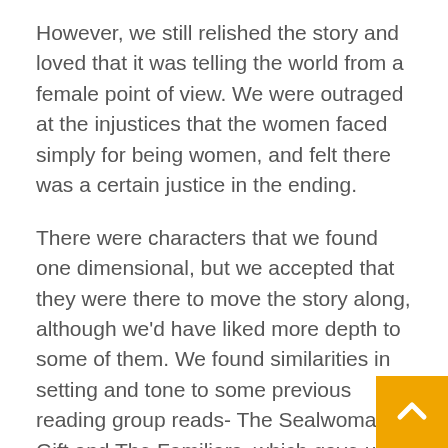However, we still relished the story and loved that it was telling the world from a female point of view. We were outraged at the injustices that the women faced simply for being women, and felt there was a certain justice in the ending.
There were characters that we found one dimensional, but we accepted that they were there to move the story along, although we'd have liked more depth to some of them. We found similarities in setting and tone to some previous reading group reads- The Sealwoman's Gift and The Familiars, which gave us some frame of reference for the Scandinavian setting, and the treatment of women suspected of being witches.
All told, this was a good read for us, many would recommend it, and we could imagine it being made into a movie. Some of our group absolutely adored it, one rating it as their favourite read yet!